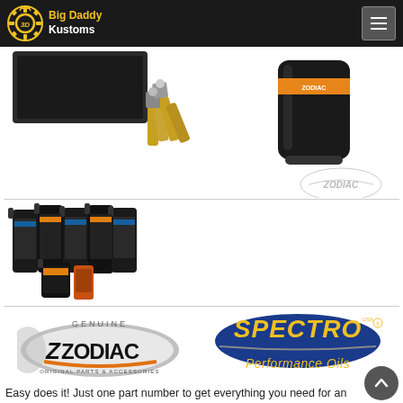Big Daddy Kustoms - navigation header
[Figure (photo): Product images: spark plugs, oil filter with Zodiac logo, and other motorcycle service parts on white background]
[Figure (photo): Multiple black bottles of Spectro motor oil/lubricants grouped together]
[Figure (logo): Genuine Zodiac Original Parts & Accessories logo - oval silver/grey logo]
[Figure (logo): Spectro Performance Oils logo - blue oval with yellow text on dark background]
Easy does it! Just one part number to get everything you need for an engine oil change, a complete oil change or an oil change complete with a spark plugs change. We have selected for you the right type of Spectro oils